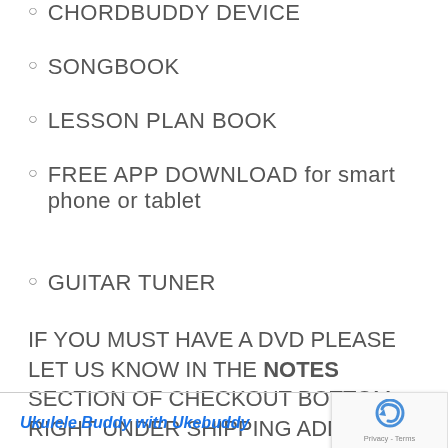CHORDBUDDY DEVICE
SONGBOOK
LESSON PLAN BOOK
FREE APP DOWNLOAD for smart phone or tablet
GUITAR TUNER
IF YOU MUST HAVE A DVD PLEASE LET US KNOW IN THE NOTES SECTION OF CHECKOUT BOTTOM RIGHT UNDER SHIPPING ADDRESS. OUR STANDARD $4.95 SHIPPING IS FOR FEDEX 2DAY OR USPS PRIORITY MAIL
Ukulele Buddy with Ukebuddy